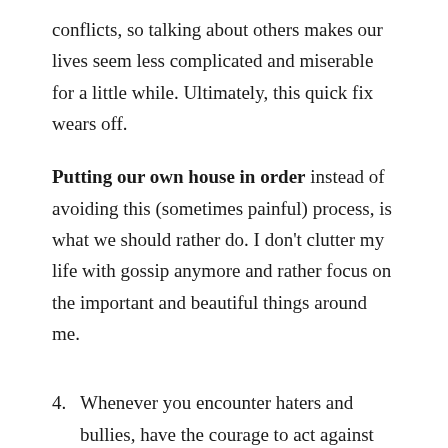conflicts, so talking about others makes our lives seem less complicated and miserable for a little while. Ultimately, this quick fix wears off.
Putting our own house in order instead of avoiding this (sometimes painful) process, is what we should rather do. I don't clutter my life with gossip anymore and rather focus on the important and beautiful things around me.
4. Whenever you encounter haters and bullies, have the courage to act against them.